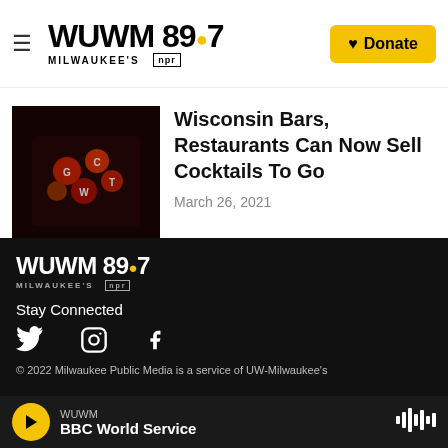WUWM 89.7 MILWAUKEE'S NPR | Donate
[Figure (screenshot): Photo of a bar scene with colorful circles/buttons on a dark background]
Wisconsin Bars, Restaurants Can Now Sell Cocktails To Go
March 26, 2021
WUWM 89.7 MILWAUKEE'S NPR | Stay Connected | Twitter | Instagram | Facebook | © 2022 Milwaukee Public Media is a service of UW-Milwaukee's WUWM | BBC World Service